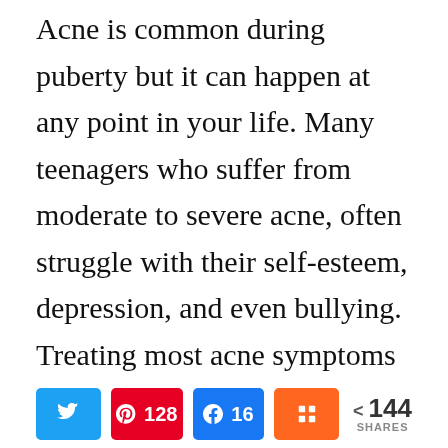Acne is common during puberty but it can happen at any point in your life. Many teenagers who suffer from moderate to severe acne, often struggle with their self-esteem, depression, and even bullying. Treating most acne symptoms can be done at home but sometimes you need the help of a dermatologist to help determine what is causing it.
[Figure (photo): Partial image showing trees or nature scene, partially visible at bottom of page]